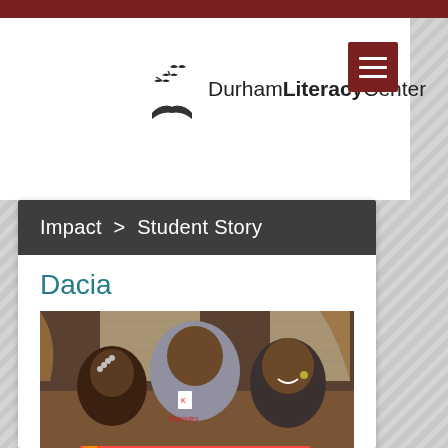[Figure (logo): Durham Literacy Center logo with bird silhouettes and open book icon, accompanied by text 'Durham Literacy Center']
[Figure (infographic): Dark red/brown hamburger menu button with three horizontal white lines]
Impact  >  Student Story
Dacia
[Figure (photo): Photo of three people (two children and one adult) reading a book titled 'Tickle Monster'. The adult in the center is wearing a gray Bojangles shirt.]